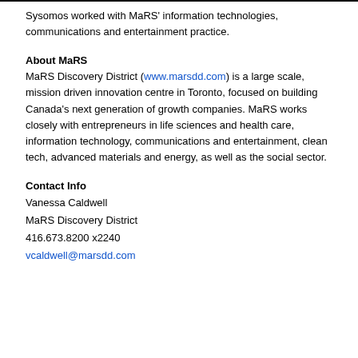Sysomos worked with MaRS' information technologies, communications and entertainment practice.
About MaRS
MaRS Discovery District (www.marsdd.com) is a large scale, mission driven innovation centre in Toronto, focused on building Canada's next generation of growth companies. MaRS works closely with entrepreneurs in life sciences and health care, information technology, communications and entertainment, clean tech, advanced materials and energy, as well as the social sector.
Contact Info
Vanessa Caldwell
MaRS Discovery District
416.673.8200 x2240
vcaldwell@marsdd.com